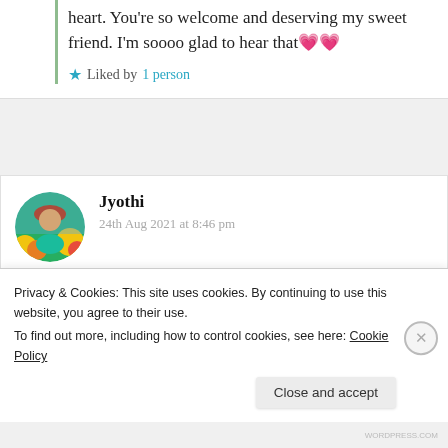heart. You're so welcome and deserving my sweet friend. I'm soooo glad to hear that 💝💝
★ Liked by 1 person
Jyothi
24th Aug 2021 at 8:46 pm
How wonderful, Suma!!
Privacy & Cookies: This site uses cookies. By continuing to use this website, you agree to their use. To find out more, including how to control cookies, see here: Cookie Policy
Close and accept